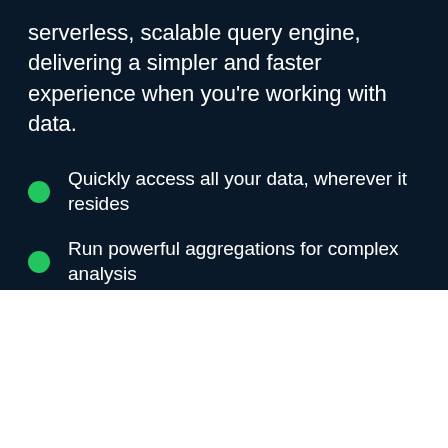serverless, scalable query engine, delivering a simpler and faster experience when you're working with data.
Quickly access all your data, wherever it resides
Run powerful aggregations for complex analysis